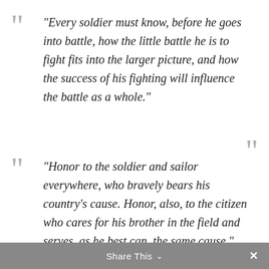“Every soldier must know, before he goes into battle, how the little battle he is to fight fits into the larger picture, and how the success of his fighting will influence the battle as a whole.”
“Honor to the soldier and sailor everywhere, who bravely bears his country’s cause. Honor, also, to the citizen who cares for his brother in the field and serves, as he best can, the same cause ”
Share This ∨  ×